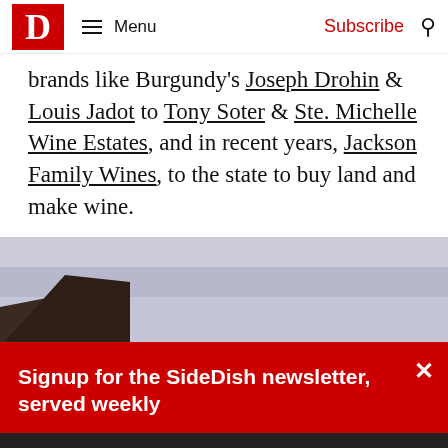D Menu Subscribe
brands like Burgundy's Joseph Drohin & Louis Jadot to Tony Soter & Ste. Michelle Wine Estates, and in recent years, Jackson Family Wines, to the state to buy land and make wine.
[Figure (photo): Partial view of a building roofline against a cloudy sky]
Signup for the SideDish newsletter, served weekly
We use cookies to ensure that we give you the best experience on our website. If you continue to use this site we will assume that you are happy with it.
GOT IT!